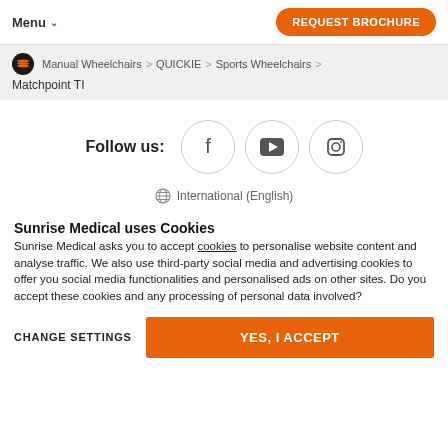Menu   REQUEST BROCHURE
Manual Wheelchairs > QUICKIE > Sports Wheelchairs > Matchpoint TI
Follow us:
[Figure (other): Social media icons: Facebook, YouTube, Instagram in circular borders]
International (English)
Sunrise Medical uses Cookies
Sunrise Medical asks you to accept cookies to personalise website content and analyse traffic. We also use third-party social media and advertising cookies to offer you social media functionalities and personalised ads on other sites. Do you accept these cookies and any processing of personal data involved?
CHANGE SETTINGS   YES, I ACCEPT